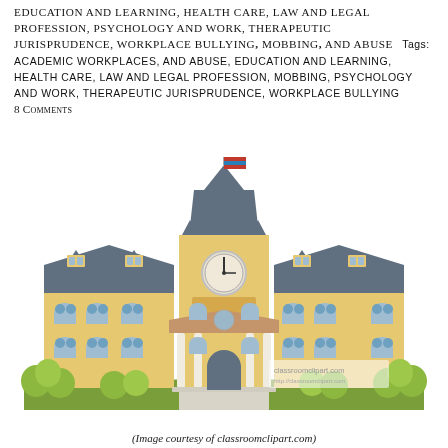EDUCATION AND LEARNING, HEALTH CARE, LAW AND LEGAL PROFESSION, PSYCHOLOGY AND WORK, THERAPEUTIC JURISPRUDENCE, WORKPLACE BULLYING, MOBBING, AND ABUSE   Tags: ACADEMIC WORKPLACES, AND ABUSE, EDUCATION AND LEARNING, HEALTH CARE, LAW AND LEGAL PROFESSION, MOBBING, PSYCHOLOGY AND WORK, THERAPEUTIC JURISPRUDENCE, WORKPLACE BULLYING
8 Comments
[Figure (illustration): Clipart illustration of a large academic/school building with a central clock tower topped with a flag, symmetrical wings with arched windows, a columned entrance portico, and green trees/bushes in the foreground on a grassy lawn. Watermark: classroomclipart.com]
(Image courtesy of classroomclipart.com)